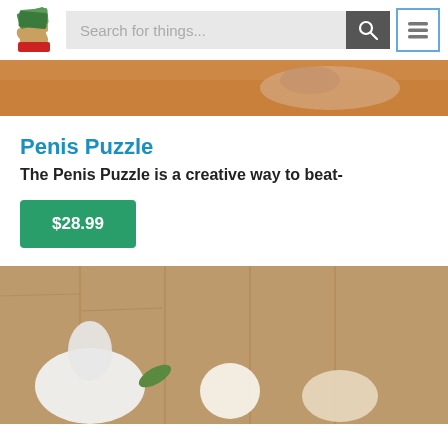[Figure (screenshot): Website header with logo (hand holding money), search bar with placeholder 'Search for things...', search button, and hamburger menu button]
[Figure (photo): Partial product image strip with warm orange/tan background, possibly hands touching something]
Penis Puzzle
The Penis Puzzle is a creative way to beat-
$28.99
[Figure (photo): Product photo on wooden background, showing puzzle pieces including illustrated cartoon character figures on a wood-plank surface]